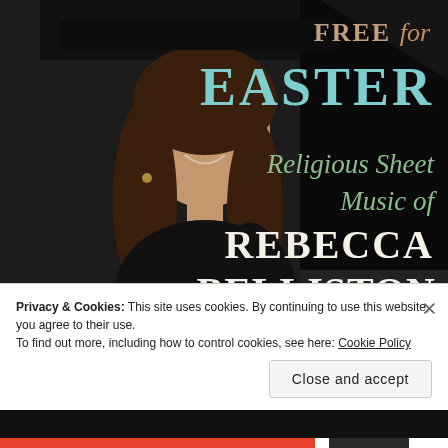[Figure (photo): A smiling woman with long brown hair sitting at a grand piano, wearing a black top, against a dark background. Overlaid text reads: FREE for EASTER / Religious Sheet Music of / REBECCA BELLISTON]
Privacy & Cookies: This site uses cookies. By continuing to use this website, you agree to their use.
To find out more, including how to control cookies, see here: Cookie Policy
Close and accept